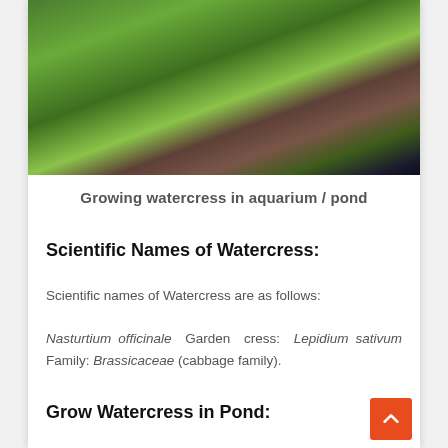[Figure (photo): A potted watercress plant growing in water, showing green leaves and brown stems in a dark container, set against a dark water background.]
Growing watercress in aquarium / pond
Scientific Names of Watercress:
Scientific names of Watercress are as follows:
Nasturtium officinale Garden cress: Lepidium sativum Family: Brassicaceae (cabbage family).
Grow Watercress in Pond: